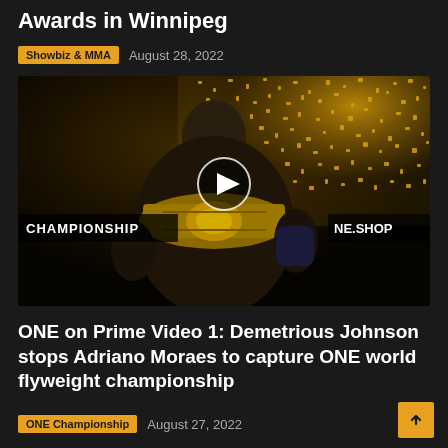Awards in Winnipeg
Showbiz & MMA   August 28, 2022
[Figure (photo): MMA fighter Demetrious Johnson holding a ONE Championship belt with gold confetti falling in the background. A video play button overlay is visible in the center. Text 'CHAMPIONSHIP' on left banner and 'NE.SHOP' on right banner.]
ONE on Prime Video 1: Demetrious Johnson stops Adriano Moraes to capture ONE world flyweight championship
ONE Championship   August 27, 2022